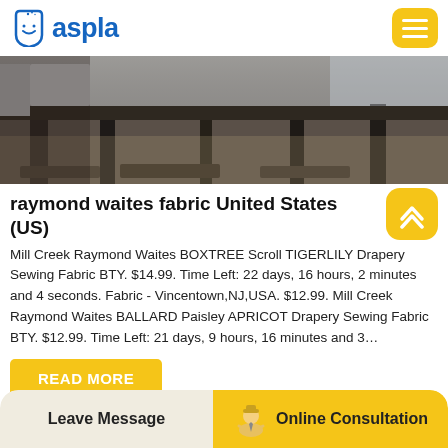aspla
[Figure (photo): Industrial photograph showing heavy metal equipment or machinery on a concrete floor, likely a factory or workshop setting. Dark metal structural components visible with light concrete background.]
raymond waites fabric United States (US)
Mill Creek Raymond Waites BOXTREE Scroll TIGERLILY Drapery Sewing Fabric BTY. $14.99. Time Left: 22 days, 16 hours, 2 minutes and 4 seconds. Fabric - Vincentown,NJ,USA. $12.99. Mill Creek Raymond Waites BALLARD Paisley APRICOT Drapery Sewing Fabric BTY. $12.99. Time Left: 21 days, 9 hours, 16 minutes and 3…
READ MORE
Leave Message   Online Consultation